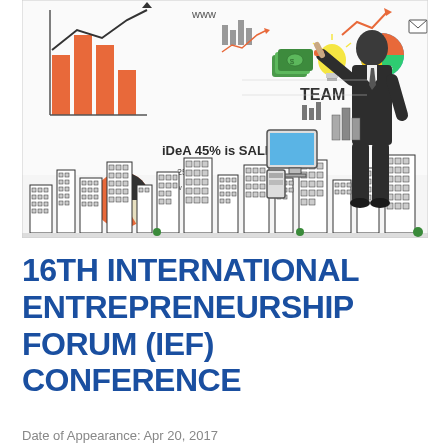[Figure (illustration): Entrepreneurship-themed illustration showing a businessman in a suit standing at a whiteboard covered with business doodles: bar charts, pie charts, line graphs, money, light bulb, clouds, cityscape buildings, text including 'idea', '45% is SALE!', 'TEAM', 'marketing', 'success', 'internet', arrows, and various business icons.]
16TH INTERNATIONAL ENTREPRENEURSHIP FORUM (IEF) CONFERENCE
Date of Appearance: Apr 20, 2017